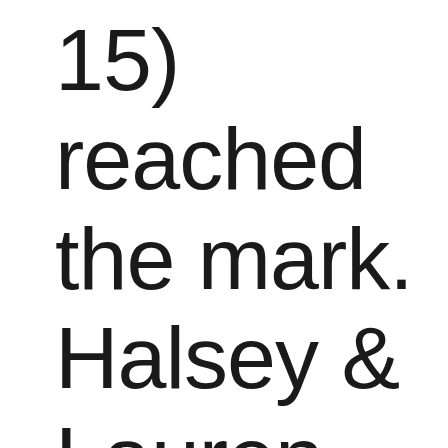15) reached the mark. Halsey & Lauren Jauregui's “Strangers”